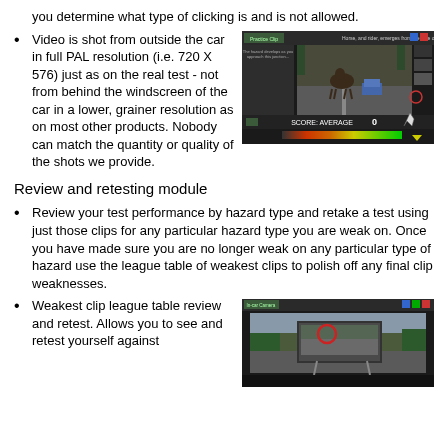you determine what type of clicking is and is not allowed.
Video is shot from outside the car in full PAL resolution (i.e. 720 X 576) just as on the real test - not from behind the windscreen of the car in a lower, grainer resolution as on most other products. Nobody can match the quantity or quality of the shots we provide.
[Figure (screenshot): Screenshot of hazard perception practice clip software showing a horse on a road with a car approaching, interface with score display showing 0 and a colored hazard response bar at the bottom.]
Review and retesting module
Review your test performance by hazard type and retake a test using just those clips for any particular hazard type you are weak on. Once you have made sure you are no longer weak on any particular type of hazard use the league table of weakest clips to polish off any final clip weaknesses.
Weakest clip league table review and retest. Allows you to see and retest yourself against...
[Figure (screenshot): Screenshot of the in-car camera hazard perception review module showing a road sign with a red circle indicator on it.]